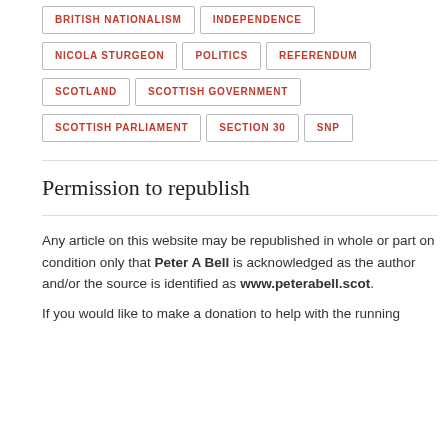BRITISH NATIONALISM
INDEPENDENCE
NICOLA STURGEON
POLITICS
REFERENDUM
SCOTLAND
SCOTTISH GOVERNMENT
SCOTTISH PARLIAMENT
SECTION 30
SNP
Permission to republish
Any article on this website may be republished in whole or part on condition only that Peter A Bell is acknowledged as the author and/or the source is identified as www.peterabell.scot. If you would like to make a donation to help with the running